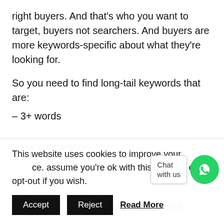right buyers. And that’s who you want to target, buyers not searchers. And buyers are more keywords-specific about what they’re looking for.
So you need to find long-tail keywords that are:
– 3+ words
– low competition
– low search
This means that you need three or m… ls…
This website uses cookies to improve your … ce. assume you’re ok with this, but you can opt-out if you wish.